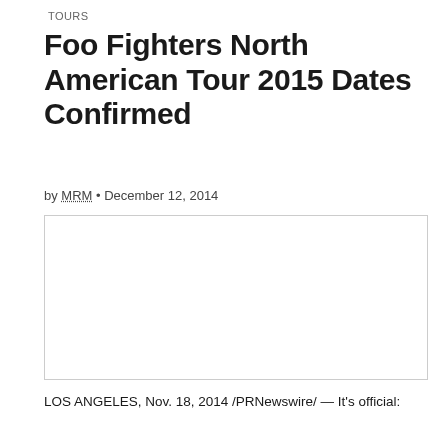TOURS
Foo Fighters North American Tour 2015 Dates Confirmed
by MRM • December 12, 2014
[Figure (photo): Empty white image placeholder box with light gray border]
LOS ANGELES, Nov. 18, 2014 /PRNewswire/ — It's official: